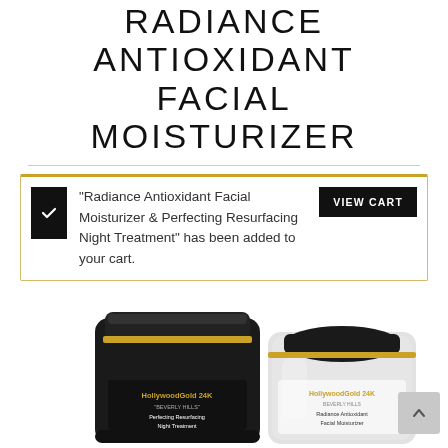RADIANCE ANTIOXIDANT FACIAL MOISTURIZER
"Radiance Antioxidant Facial Moisturizer & Perfecting Resurfacing Night Treatment" has been added to your cart.
[Figure (photo): Two HollywoodGold 24K Beverly Hills product jars: one dark/black jar labeled 'Perfecting Resurfacing Night Treatment' and one clear/silver jar labeled 'Radiance Antioxidant Facial Moisturizer']